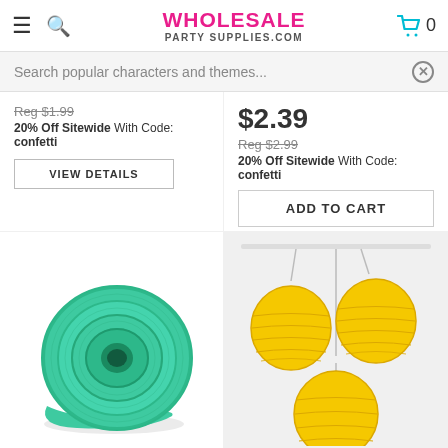WHOLESALE PARTY SUPPLIES.COM
Search popular characters and themes...
Reg $1.99
20% Off Sitewide With Code: confetti
VIEW DETAILS
$2.39
Reg $2.99
20% Off Sitewide With Code: confetti
ADD TO CART
[Figure (photo): A roll of seafoam green crepe paper streamer]
[Figure (photo): Three yellow paper lanterns hanging from the ceiling]
Seafoam Green P...
Yellow Paper L...